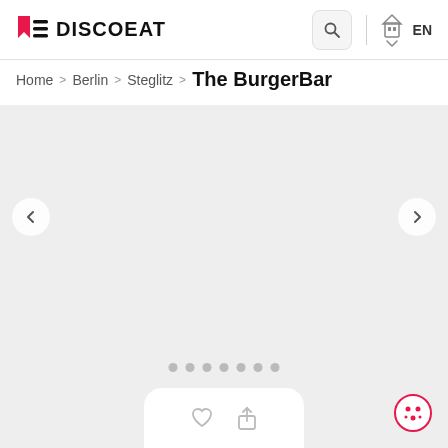DISCOEAT
Home > Berlin > Steglitz > The BurgerBar
[Figure (screenshot): Light gray placeholder image area for restaurant photo carousel with left and right navigation arrows and pagination dots at the bottom]